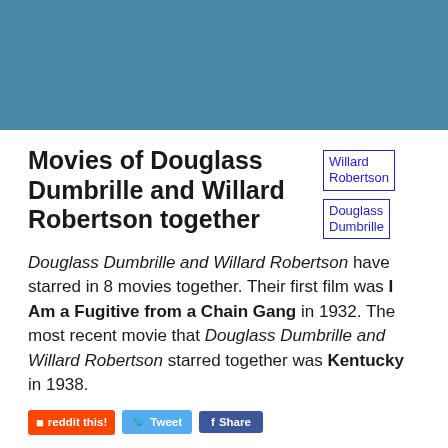[Figure (illustration): Blue/teal decorative header banner]
Movies of Douglass Dumbrille and Willard Robertson together
[Figure (photo): Willard Robertson actor image placeholder]
[Figure (photo): Douglass Dumbrille actor image placeholder]
Douglass Dumbrille and Willard Robertson have starred in 8 movies together. Their first film was I Am a Fugitive from a Chain Gang in 1932. The most recent movie that Douglass Dumbrille and Willard Robertson starred together was Kentucky in 1938.
reddit this! Tweet Share